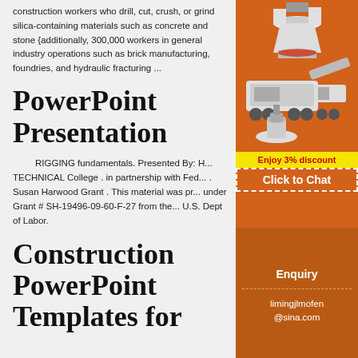construction workers who drill, cut, crush, or grind silica-containing materials such as concrete and stone {additionally, 300,000 workers in general industry operations such as brick manufacturing, foundries, and hydraulic fracturing ...
PowerPoint Presentation
RIGGING fundamentals. Presented By: H... TECHNICAL College . in partnership with Fed... . Susan Harwood Grant . This material was pr... under Grant # SH-19496-09-60-F-27 from the... U.S. Dept of Labor.
Construction PowerPoint Templates for
[Figure (illustration): Orange sidebar advertisement showing industrial crushing/mining machinery on orange background, with 'Enjoy 3% discount' in yellow bar and 'Click to Chat' text]
Enjoy 3% discount
Click to Chat
Enquiry
limingjlmofen@sina.com